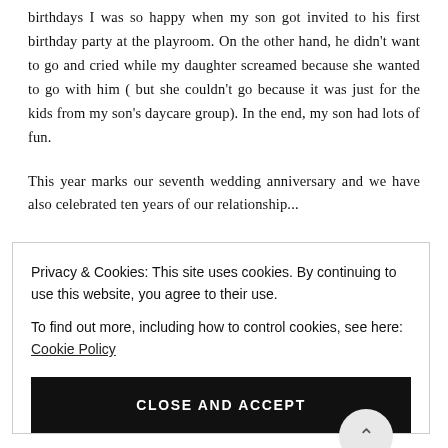birthdays I was so happy when my son got invited to his first birthday party at the playroom. On the other hand, he didn't want to go and cried while my daughter screamed because she wanted to go with him ( but she couldn't go because it was just for the kids from my son's daycare group). In the end, my son had lots of fun.
This year marks our seventh wedding anniversary and we have also celebrated ten years of our relationship...
Privacy & Cookies: This site uses cookies. By continuing to use this website, you agree to their use.
To find out more, including how to control cookies, see here: Cookie Policy
CLOSE AND ACCEPT